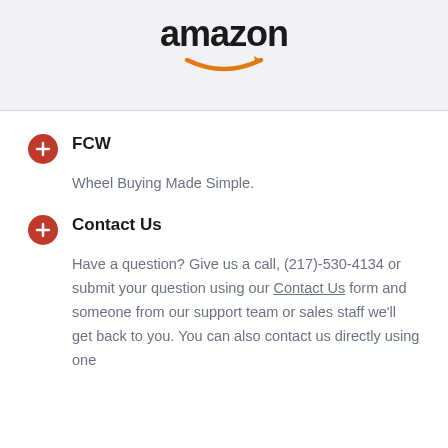[Figure (logo): Amazon logo with orange arrow/smile underneath the black text]
FCW
Wheel Buying Made Simple.
Contact Us
Have a question? Give us a call, (217)-530-4134 or submit your question using our Contact Us form and someone from our support team or sales staff we'll get back to you. You can also contact us directly using one